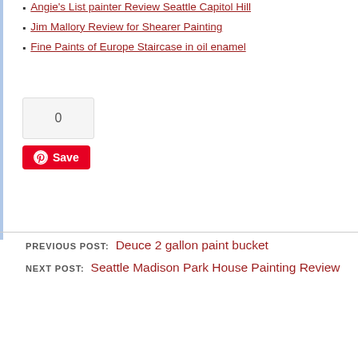Angie's List painter Review Seattle Capitol Hill
Jim Mallory Review for Shearer Painting
Fine Paints of Europe Staircase in oil enamel
[Figure (other): Share count box showing 0]
Save
PREVIOUS POST: Deuce 2 gallon paint bucket
NEXT POST: Seattle Madison Park House Painting Review